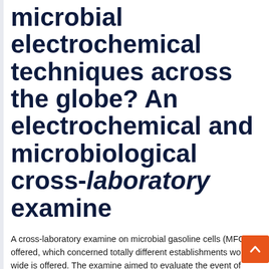microbial electrochemical techniques across the globe? An electrochemical and microbiological cross-laboratory examine
A cross-laboratory examine on microbial gasoline cells (MFC) is offered, which concerned totally different establishments world wide is offered. The examine aimed to evaluate the event of autochthone microbial pool enriched from home wastewater from totally different areas, cultivated in an identical single chamber MFCs, operated the identical me thereby approaching the thought of growing widespread requirements for MFCs. The MFCs have been inoculated with